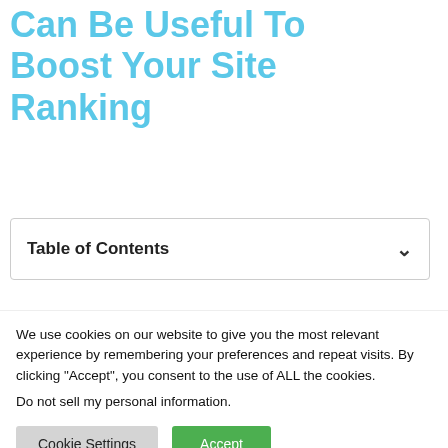Can Be Useful To Boost Your Site Ranking
| Table of Contents |
| --- |
We use cookies on our website to give you the most relevant experience by remembering your preferences and repeat visits. By clicking “Accept”, you consent to the use of ALL the cookies.
Do not sell my personal information.
Cookie Settings   Accept